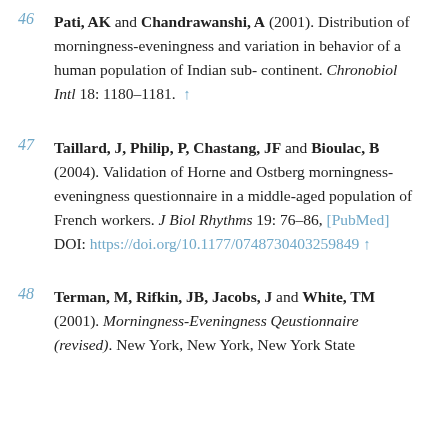46 Pati, AK and Chandrawanshi, A (2001). Distribution of morningness-eveningness and variation in behavior of a human population of Indian sub-continent. Chronobiol Intl 18: 1180–1181. ↑
47 Taillard, J, Philip, P, Chastang, JF and Bioulac, B (2004). Validation of Horne and Ostberg morningness-eveningness questionnaire in a middle-aged population of French workers. J Biol Rhythms 19: 76–86, [PubMed] DOI: https://doi.org/10.1177/0748730403259849 ↑
48 Terman, M, Rifkin, JB, Jacobs, J and White, TM (2001). Morningness-Eveningness Qeustionnaire (revised). New York, New York, New York State